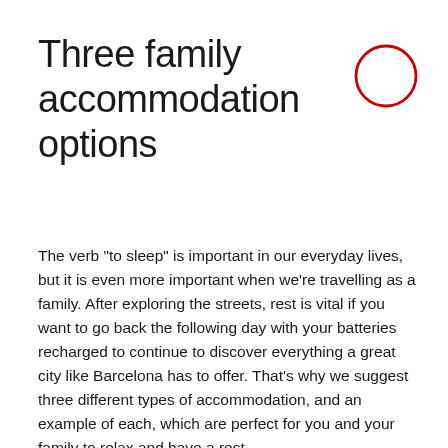Three family accommodation options
[Figure (illustration): A red circle outline (unfilled) in the top-right area of the page, used as a decorative graphic element.]
The verb "to sleep" is important in our everyday lives, but it is even more important when we're travelling as a family. After exploring the streets, rest is vital if you want to go back the following day with your batteries recharged to continue to discover everything a great city like Barcelona has to offer. That's why we suggest three different types of accommodation, and an example of each, which are perfect for you and your family to relax and have a rest.